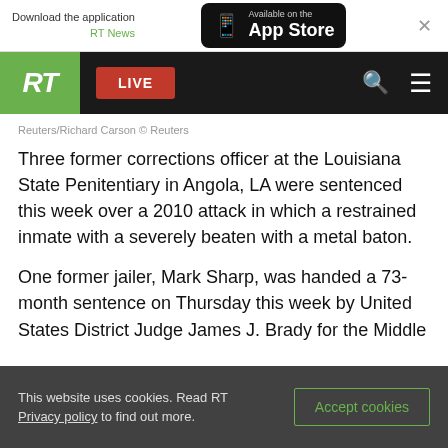[Figure (screenshot): App Store download banner with RT News branding and close button]
[Figure (screenshot): RT News navigation bar with logo, LIVE button, search and menu icons]
Reuters/Richard Carson © Reuters
Three former corrections officer at the Louisiana State Penitentiary in Angola, LA were sentenced this week over a 2010 attack in which a restrained inmate with a severely beaten with a metal baton.
One former jailer, Mark Sharp, was handed a 73-month sentence on Thursday this week by United States District Judge James J. Brady for the Middle
This website uses cookies. Read RT Privacy policy to find out more.